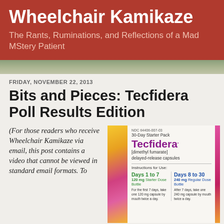Wheelchair Kamikaze
The Rants, Ruminations, and Reflections of a Mad MStery Patient
FRIDAY, NOVEMBER 22, 2013
Bits and Pieces: Tecfidera Poll Results Edition
(For those readers who receive Wheelchair Kamikaze via email, this post contains a video that cannot be viewed in standard email formats. To
[Figure (photo): Tecfidera 30-Day Starter Pack box showing NDC 64406-007-03, brand name Tecfidera (dimethyl fumarate) delayed-release capsules, with instructions for use showing Days 1 to 7 (120 mg Starter Dose Bottle) and Days 8 to 30 (240 mg Regular Dose Bottle) with dosing instructions for each phase.]